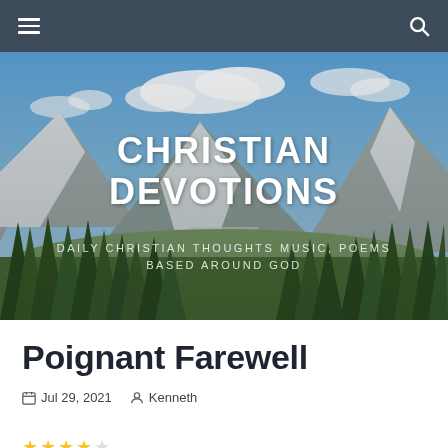Christian Devotions website header with hamburger menu and search icon
[Figure (photo): Panoramic mountain landscape with snow-capped peaks, blue sky with clouds, evergreen forest in foreground, and valley/river below. Overlaid with site title 'CHRISTIAN DEVOTIONS' and subtitle 'DAILY CHRISTIAN THOUGHTS MUSIC, POEMS BASED AROUND GOD']
Poignant Farewell
Jul 29, 2021   Kenneth